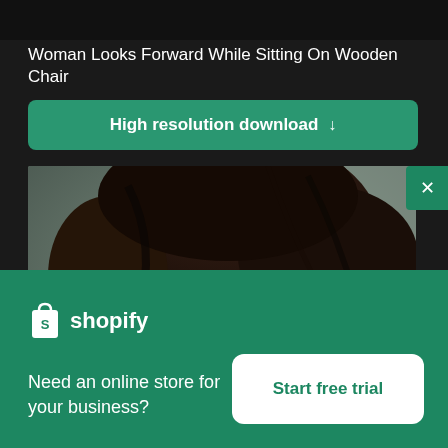[Figure (photo): Partial dark screenshot/image strip at the top of the page]
Woman Looks Forward While Sitting On Wooden Chair
High resolution download ↓
[Figure (photo): Close-up portrait photo of a woman with dark hair looking slightly to the side, against a muted green-grey background]
×
[Figure (logo): Shopify logo — shopping bag icon with the letter S, followed by the word shopify in white]
Need an online store for your business?
Start free trial